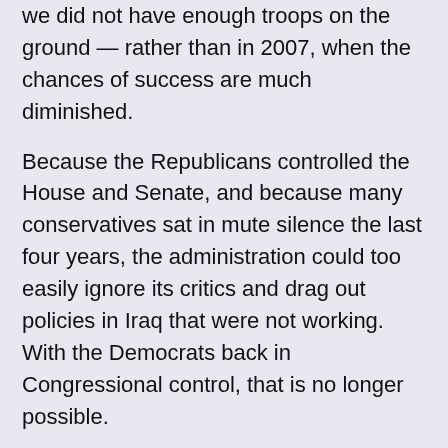we did not have enough troops on the ground — rather than in 2007, when the chances of success are much diminished.
Because the Republicans controlled the House and Senate, and because many conservatives sat in mute silence the last four years, the administration could too easily ignore its critics and drag out policies in Iraq that were not working. With the Democrats back in Congressional control, that is no longer possible.
The other useful function Speaker Pelosi and her colleagues are performing is to give the president and Gen. David Petraeus, our commander in Iraq, the leverage of a deadline without a formal deadline. How so? The surge can't work without political reconciliation among Iraqi factions, which means Sunni-Shiite negotiations — and such negotiations are unlikely to work without America having the "leverage" of telling the parties that if they don't compromise, we will leave. (Deadlines matter. At some point, Iraqis have to figure this out themselves.)
Since Mr. Bush refuses to set a deadline, Speaker Pelosi is the next best thing. Do not underestimate how useful it is for